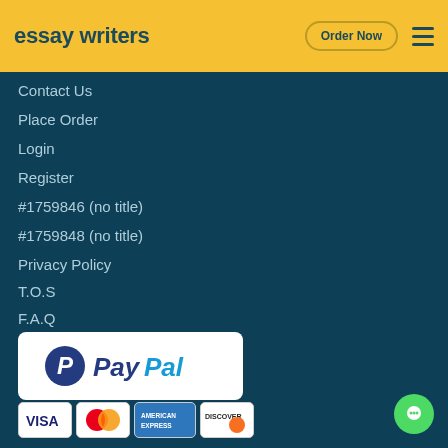essay writers | Order Now
Contact Us
Place Order
Login
Register
#1759846 (no title)
#1759848 (no title)
Privacy Policy
T.O.S
F.A.Q
[Figure (logo): PayPal logo on white rounded rectangle background]
[Figure (illustration): Payment card logos: Visa, Mastercard, American Express, Discover]